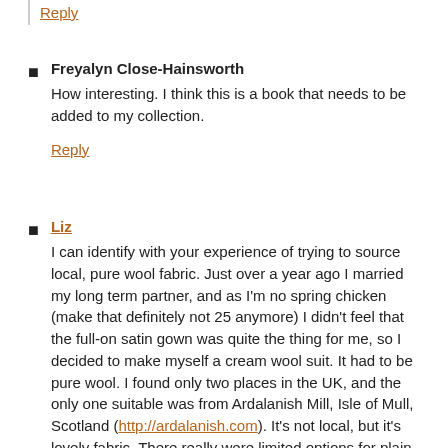Reply
Freyalyn Close-Hainsworth
How interesting. I think this is a book that needs to be added to my collection.
Reply
Liz
I can identify with your experience of trying to source local, pure wool fabric. Just over a year ago I married my long term partner, and as I'm no spring chicken (make that definitely not 25 anymore) I didn't feel that the full-on satin gown was quite the thing for me, so I decided to make myself a cream wool suit. It had to be pure wool. I found only two places in the UK, and the only one suitable was from Ardalanish Mill, Isle of Mull, Scotland (http://ardalanish.com). It's not local, but it's lovely fabric. There really were limited options for plain cream wool, let alone any pure wool.